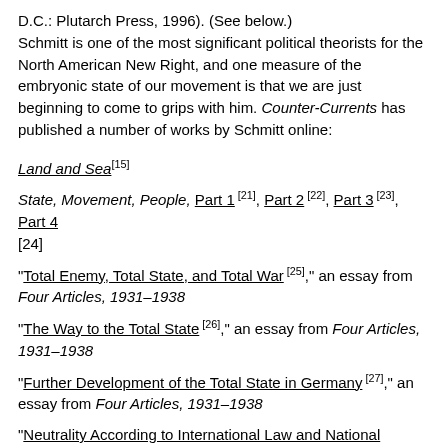D.C.: Plutarch Press, 1996). (See below.) Schmitt is one of the most significant political theorists for the North American New Right, and one measure of the embryonic state of our movement is that we are just beginning to come to grips with him. Counter-Currents has published a number of works by Schmitt online:
Land and Sea [15]
State, Movement, People, Part 1 [21], Part 2 [22], Part 3 [23], Part 4 [24]
"Total Enemy, Total State, and Total War [25]," an essay from Four Articles, 1931–1938
"The Way to the Total State [26]," an essay from Four Articles, 1931–1938
"Further Development of the Total State in Germany [27]," an essay from Four Articles, 1931–1938
"Neutrality According to International Law and National Totality [28]," an essay from Four Articles, 1931–1938